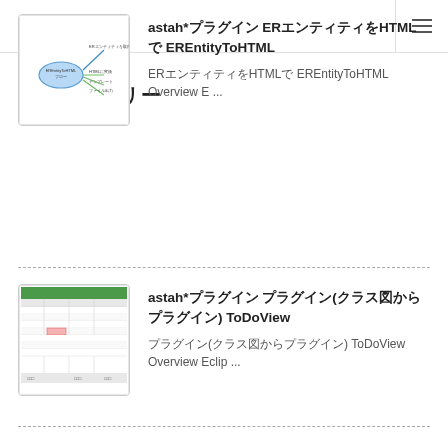カテゴリー
[Figure (screenshot): Mind map diagram thumbnail for EREntityToHTML plugin]
astah*プラグイン ERエンティティをHTMLで EREntityToHTML
ERエンティティをHTMLで EREntityToHTML Overview E ...
[Figure (screenshot): Screenshot of a spreadsheet/table view for ToDoView plugin]
astah*プラグイン プラグイン(クラス図からプラグイン) ToDoView
プラグイン(クラス図からプラグイン) ToDoView Overview Eclip ...